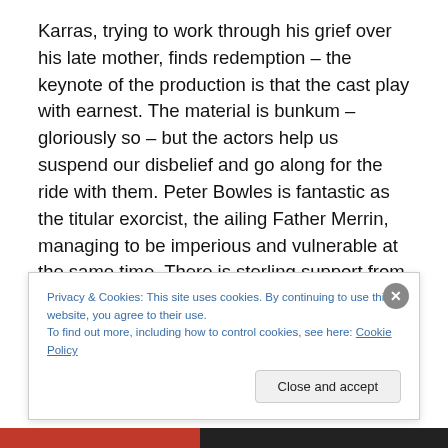Karras, trying to work through his grief over his late mother, finds redemption – the keynote of the production is that the cast play with earnest.  The material is bunkum – gloriously so – but the actors help us suspend our disbelief and go along for the ride with them.  Peter Bowles is fantastic as the titular exorcist, the ailing Father Merrin, managing to be imperious and vulnerable at the same time.  There is sterling support from Joseph Wilkins's Father Joe, Mitchell Mullen's Doctor Klein, and Todd Boyce's Doctor Strong, a succession of 'experts' trying to diagnose what's wrong with the little girl. Tristram
Privacy & Cookies: This site uses cookies. By continuing to use this website, you agree to their use.
To find out more, including how to control cookies, see here: Cookie Policy